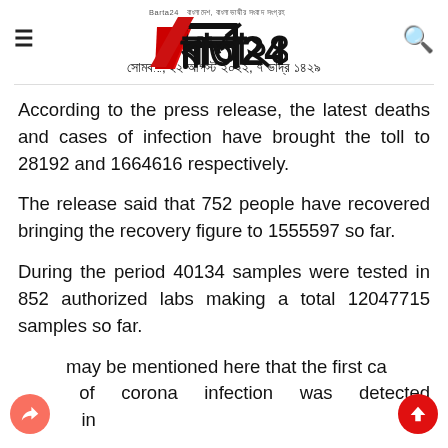Barta24 — সোমবার, ২২ আগস্ট ২০২২, ৭ ভাদ্র ১৪২৯
According to the press release, the latest deaths and cases of infection have brought the toll to 28192 and 1664616 respectively.
The release said that 752 people have recovered bringing the recovery figure to 1555597 so far.
During the period 40134 samples were tested in 852 authorized labs making a total 12047715 samples so far.
may be mentioned here that the first case of corona infection was detected in